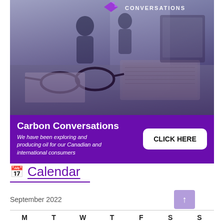[Figure (photo): Office desk scene with glasses, laptop, keyboard, two people in background. Purple tinted overlay. Logo text CONVERSATIONS at top right.]
Carbon Conversations
We have been exploring and producing oil for our Canadian and international consumers
CLICK HERE
Calendar
September 2022
| M | T | W | T | F | S | S |
| --- | --- | --- | --- | --- | --- | --- |